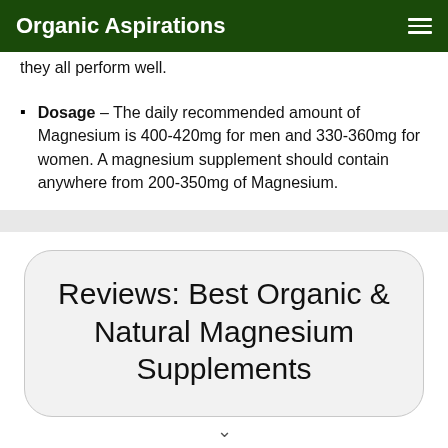Organic Aspirations
they all perform well.
Dosage – The daily recommended amount of Magnesium is 400-420mg for men and 330-360mg for women. A magnesium supplement should contain anywhere from 200-350mg of Magnesium.
Reviews: Best Organic & Natural Magnesium Supplements